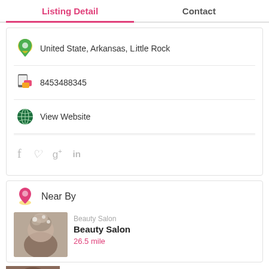Listing Detail | Contact
United State, Arkansas, Little Rock
8453488345
View Website
Social icons: Facebook, Twitter, Google+, LinkedIn
Near By
Beauty Salon
Beauty Salon
26.5 mile